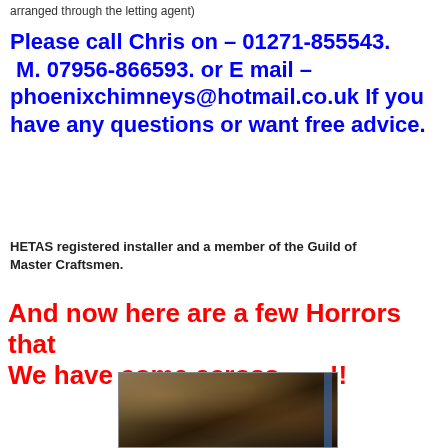arranged through the letting agent)
Please call Chris on – 01271-855543. M. 07956-866593. or E mail – phoenixchimneys@hotmail.co.uk If you have any questions or want free advice.
HETAS registered installer and a member of the Guild of Master Craftsmen.
And now here are a few Horrors that We have come across.......!!
[Figure (photo): A photograph showing the interior of a dirty chimney with debris, straw, and dark soot-covered surfaces. A blue pipe or liner is visible on the right side.]